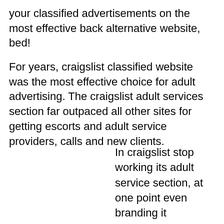your classified advertisements on the most effective back alternative website, bed!
For years, craigslist classified website was the most effective choice for adult advertising. The craigslist adult services section far outpaced all other sites for getting escorts and adult service providers, calls and new clients.
In craigslist stop working its adult service section, at one point even branding it "censored". This led to